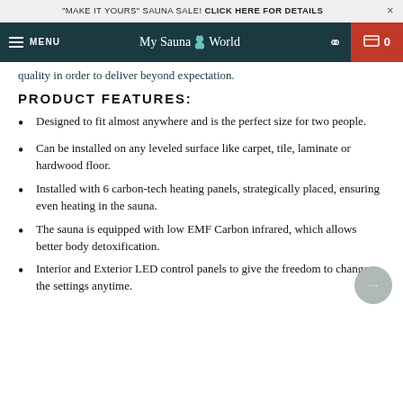"MAKE IT YOURS" SAUNA SALE! CLICK HERE FOR DETAILS
MENU | My Sauna World | 0
quality in order to deliver beyond expectation.
PRODUCT FEATURES:
Designed to fit almost anywhere and is the perfect size for two people.
Can be installed on any leveled surface like carpet, tile, laminate or hardwood floor.
Installed with 6 carbon-tech heating panels, strategically placed, ensuring even heating in the sauna.
The sauna is equipped with low EMF Carbon infrared, which allows better body detoxification.
Interior and Exterior LED control panels to give the freedom to change the settings anytime.